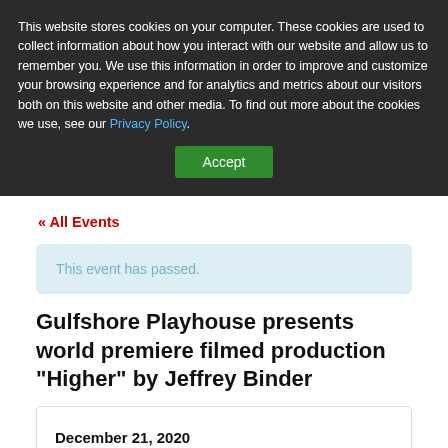This website stores cookies on your computer. These cookies are used to collect information about how you interact with our website and allow us to remember you. We use this information in order to improve and customize your browsing experience and for analytics and metrics about our visitors both on this website and other media. To find out more about the cookies we use, see our Privacy Policy.
Accept
« All Events
This event has passed.
Gulfshore Playhouse presents world premiere filmed production “Higher” by Jeffrey Binder
December 21, 2020